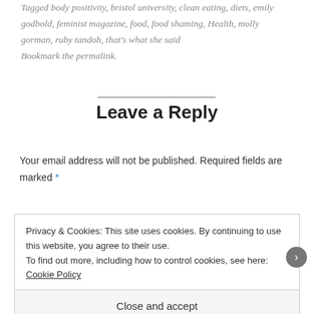Tagged body positivity, bristol university, clean eating, diets, emily godbold, feminist magazine, food, food shaming, Health, molly gorman, ruby tandoh, that's what she said Bookmark the permalink.
Leave a Reply
Your email address will not be published. Required fields are marked *
Privacy & Cookies: This site uses cookies. By continuing to use this website, you agree to their use.
To find out more, including how to control cookies, see here: Cookie Policy
Close and accept